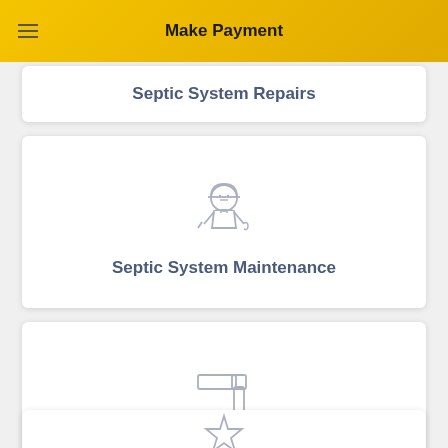Make Payment
Septic System Repairs
[Figure (illustration): Worker/technician icon with hard hat and tools]
Septic System Maintenance
[Figure (illustration): Pipe/plumbing icon]
Septic System Pumping
[Figure (illustration): Star or rating icon partially visible]